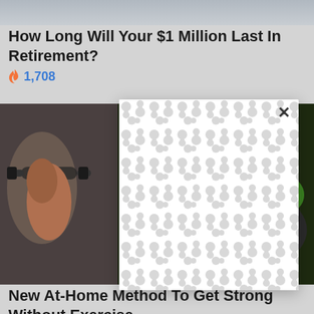[Figure (photo): Top banner image, partially visible landscape or background scene]
How Long Will Your $1 Million Last In Retirement?
🔥 1,708
[Figure (photo): Left: Person lifting dumbbell (at-home exercise). Right: Broccoli in a pan. Center: Modal popup with pattern background and X close button.]
New At-Home Method To Get Strong Without Exercise
🔥 852
CARD NUMBER = ••••••••••••5561